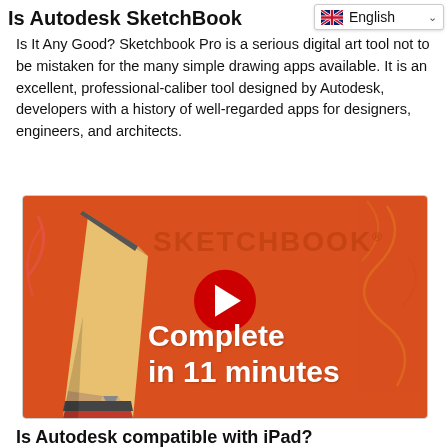Is Autodesk SketchBook…
Is It Any Good? Sketchbook Pro is a serious digital art tool not to be mistaken for the many simple drawing apps available. It is an excellent, professional-caliber tool designed by Autodesk, developers with a history of well-regarded apps for designers, engineers, and architects.
[Figure (screenshot): YouTube video thumbnail for Sketchbook tutorial — orange background with pencil illustration, SKETCHBOOK text, YouTube play button, and text 'Complete in 11 minutes']
Is Autodesk compatible with iPad?